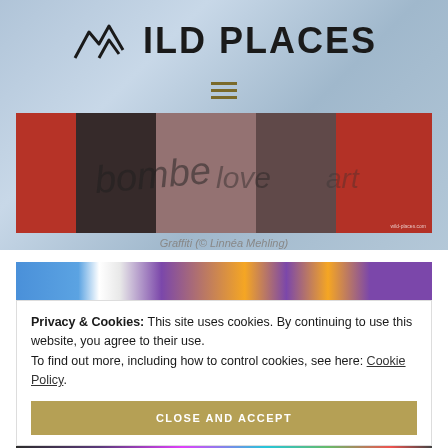WILD PLACES
[Figure (photo): Graffiti photo showing colorful street art with red, black and grey tones. Watermark: wild-places.com]
Graffiti (© Linnéa Mehling)
[Figure (photo): Partial photo showing Lakers basketball jersey in purple and gold]
Privacy & Cookies: This site uses cookies. By continuing to use this website, you agree to their use.
To find out more, including how to control cookies, see here: Cookie Policy
CLOSE AND ACCEPT
[Figure (photo): Bottom strip of colorful graffiti images]